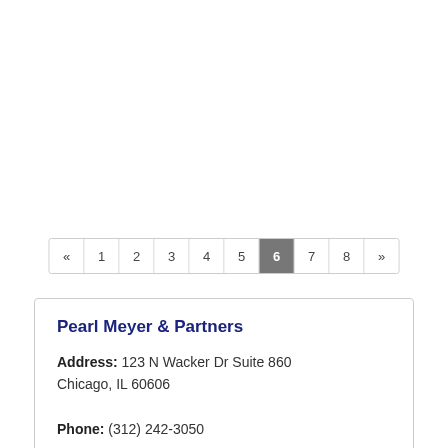[Figure (other): Pagination control showing pages 1-8 with page 6 highlighted in grey. Navigation arrows on both ends.]
Pearl Meyer & Partners
Address: 123 N Wacker Dr Suite 860 Chicago, IL 60606
Phone: (312) 242-3050